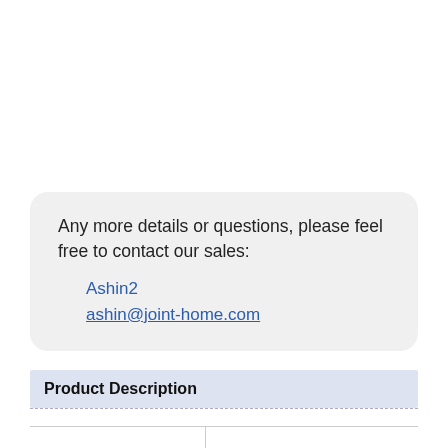Any more details or questions, please feel free to contact our sales:
Ashin2
ashin@joint-home.com
Product Description